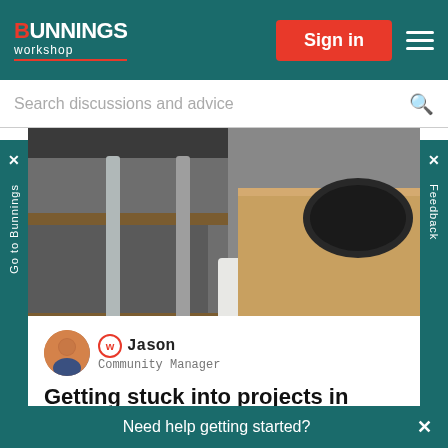Bunnings Workshop
Search discussions and advice
[Figure (photo): Kitchen interior photo showing under-table area with steel legs, bench seating, wooden countertop with inset black sink, white cabinet doors with dark metal handles, and light grey wood-look flooring]
Jason Community Manager
Getting stuck into projects in autumn
Need help getting started?